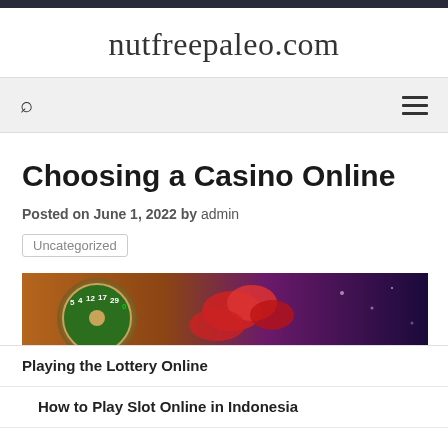nutfreepaleo.com
Choosing a Casino Online
Posted on June 1, 2022 by admin
Uncategorized
[Figure (photo): Casino roulette wheel with chips, dark purple background]
Playing the Lottery Online
How to Play Slot Online in Indonesia